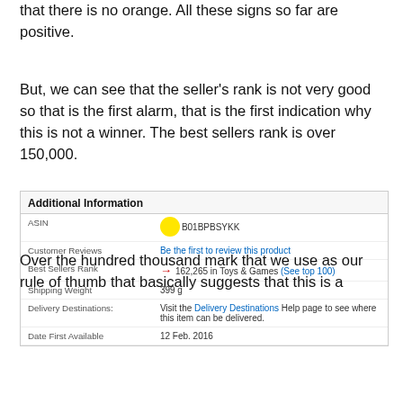that there is no orange. All these signs so far are positive.
But, we can see that the seller's rank is not very good so that is the first alarm, that is the first indication why this is not a winner. The best sellers rank is over 150,000.
[Figure (screenshot): Amazon Additional Information table showing ASIN (B01BPBSYKK with yellow circle highlight), Customer Reviews (Be the first to review this product), Best Sellers Rank (162,265 in Toys & Games (See top 100) with red arrow pointing to it), Shipping Weight (399 g), Delivery Destinations, Date First Available (12 Feb. 2016)]
Over the hundred thousand mark that we use as our rule of thumb that basically suggests that this is a